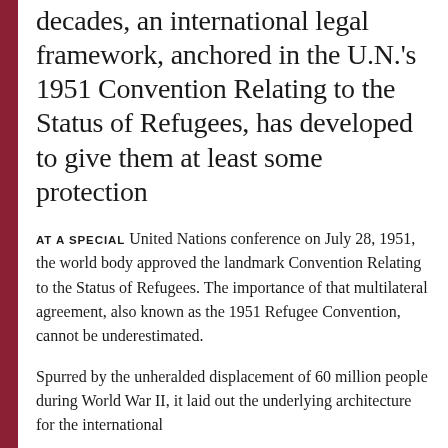decades, an international legal framework, anchored in the U.N.'s 1951 Convention Relating to the Status of Refugees, has developed to give them at least some protection
AT A SPECIAL United Nations conference on July 28, 1951, the world body approved the landmark Convention Relating to the Status of Refugees. The importance of that multilateral agreement, also known as the 1951 Refugee Convention, cannot be underestimated.
Spurred by the unheralded displacement of 60 million people during World War II, it laid out the underlying architecture for the international